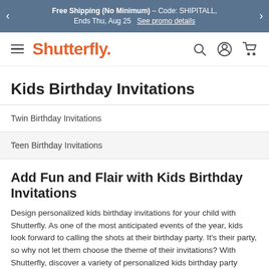Free Shipping (No Minimum) – Code: SHIPITALL, Ends Thu, Aug 25  See promo details
[Figure (logo): Shutterfly logo with hamburger menu, search icon, account icon, and cart icon in navigation bar]
Kids Birthday Invitations
Twin Birthday Invitations
Teen Birthday Invitations
Add Fun and Flair with Kids Birthday Invitations
Design personalized kids birthday invitations for your child with Shutterfly. As one of the most anticipated events of the year, kids look forward to calling the shots at their birthday party. It's their party, so why not let them choose the theme of their invitations? With Shutterfly, discover a variety of personalized kids birthday party invitations that'll not only showcase their personality but make them feel like they're the center of attention. Whether it's the first birthday or their tenth, you can make the best birthday invites for kids in every style and personality. Use our birthday